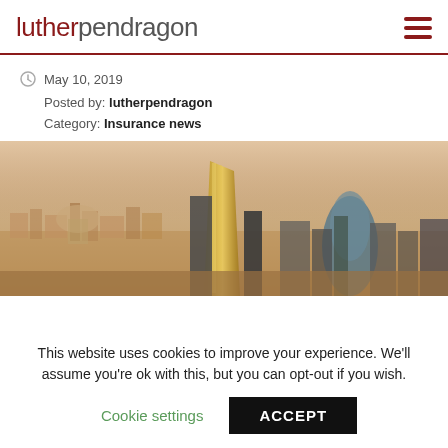lutherpendragon
May 10, 2019
Posted by: lutherpendragon
Category: Insurance news
[Figure (photo): Aerial view of London city skyline with skyscrapers including the Gherkin building, photographed at dusk with hazy warm tones]
This website uses cookies to improve your experience. We'll assume you're ok with this, but you can opt-out if you wish.
Cookie settings  ACCEPT